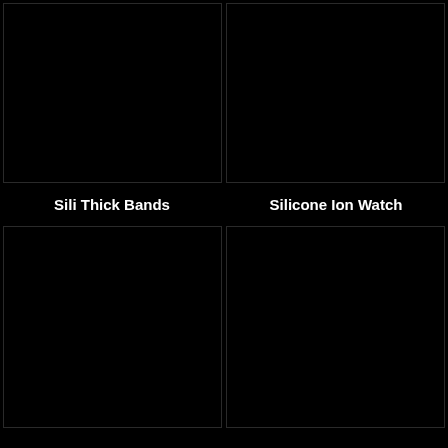[Figure (photo): Dark/black product image placeholder for Sili Thick Bands]
[Figure (photo): Dark/black product image placeholder for Silicone Ion Watch]
Sili Thick Bands
Silicone Ion Watch
[Figure (photo): Dark/black product image placeholder (bottom left)]
[Figure (photo): Dark/black product image placeholder (bottom right)]